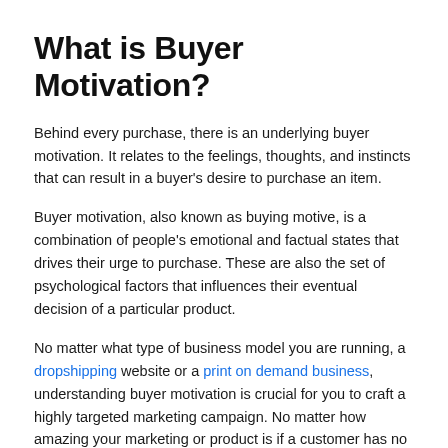What is Buyer Motivation?
Behind every purchase, there is an underlying buyer motivation. It relates to the feelings, thoughts, and instincts that can result in a buyer's desire to purchase an item.
Buyer motivation, also known as buying motive, is a combination of people's emotional and factual states that drives their urge to purchase. These are also the set of psychological factors that influences their eventual decision of a particular product.
No matter what type of business model you are running, a dropshipping website or a print on demand business, understanding buyer motivation is crucial for you to craft a highly targeted marketing campaign. No matter how amazing your marketing or product is if a customer has no driving